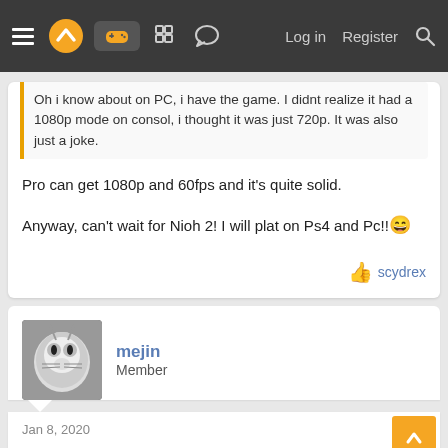Log in  Register
Oh i know about on PC, i have the game. I didnt realize it had a 1080p mode on consol, i thought it was just 720p. It was also just a joke.
Pro can get 1080p and 60fps and it's quite solid.

Anyway, can't wait for Nioh 2! I will plat on Ps4 and Pc!!😆
scydrex
mejin
Member
Jan 8, 2020
Love Nioh and will get the sequel, but I hope Team Ninja bring back Ninja Gaiden next gen.